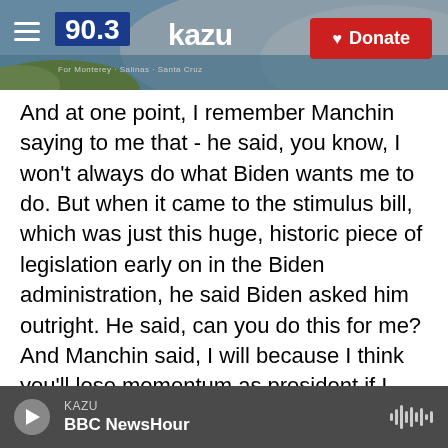90.3 KAZU | Donate
And at one point, I remember Manchin saying to me that - he said, you know, I won't always do what Biden wants me to do. But when it came to the stimulus bill, which was just this huge, historic piece of legislation early on in the Biden administration, he said Biden asked him outright. He said, can you do this for me? And Manchin said, I will because I think you'll lose momentum as president if I don't. And there's a deeper lesson in there, which is Biden knows that. And he knows that he has this - he always has this option up his sleeve. But he can only use it a few times, and he can ask Manchin outright.
KAZU | BBC NewsHour